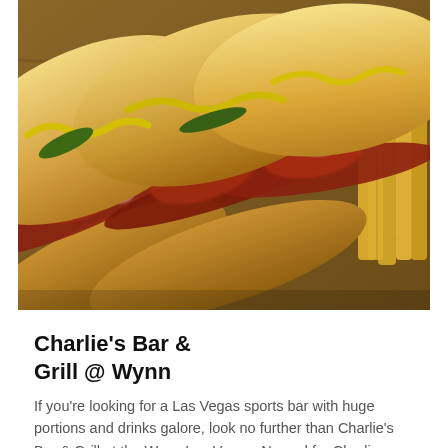[Figure (photo): Overhead close-up photograph of three hot dogs in buns topped with yellow mustard drizzle, green peppers/pickles, diced tomatoes and onions (pico de gallo-style salsa), arranged diagonally. French fries visible on the right side.]
Charlie's Bar & Grill @ Wynn
If you're looking for a Las Vegas sports bar with huge portions and drinks galore, look no further than Charlie's Bar & Grill at the Wynn Las Vegas. Named for Charlie Meyerson, the well-known bookie and casino host, Charlie's Bar